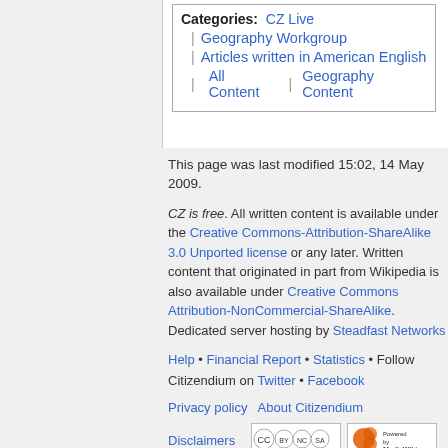Humanitarian Affairs, April 6, 2006
Categories: CZ Live | Geography Workgroup | Articles written in American English | All Content | Geography Content
This page was last modified 15:02, 14 May 2009.
CZ is free. All written content is available under the Creative Commons-Attribution-ShareAlike 3.0 Unported license or any later. Written content that originated in part from Wikipedia is also available under Creative Commons Attribution-NonCommercial-ShareAlike. Dedicated server hosting by Steadfast Networks
Help • Financial Report • Statistics • Follow Citizendium on Twitter • Facebook
Privacy policy   About Citizendium
Disclaimers
[Figure (logo): Creative Commons BY-NC-SA license badge]
[Figure (logo): Powered by MediaWiki badge]